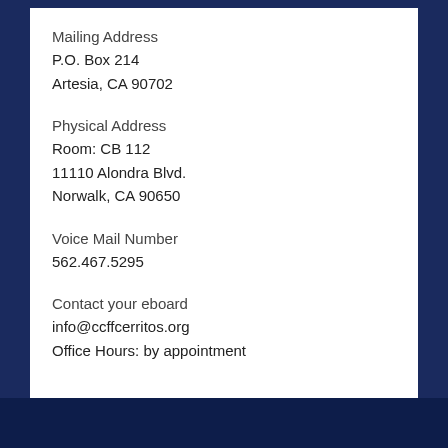Mailing Address
P.O. Box 214
Artesia, CA 90702
Physical Address
Room: CB 112
11110 Alondra Blvd.
Norwalk, CA 90650
Voice Mail Number
562.467.5295
Contact your eboard
info@ccffcerritos.org
Office Hours: by appointment